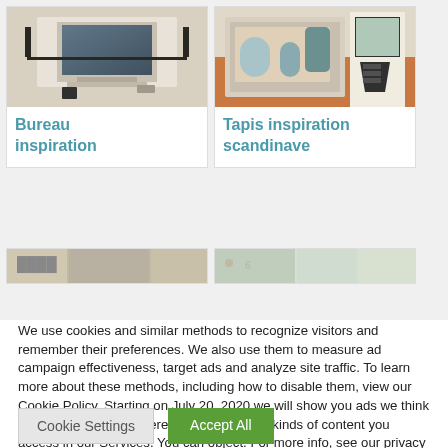[Figure (photo): Photo of a desk/bureau setup with a computer monitor, keyboard, and office accessories on a white desk]
Bureau inspiration
[Figure (photo): Photo of a Scandinavian-style decorative tray with geometric pattern items, plants and accessories]
Tapis inspiration scandinave
[Figure (photo): Partial photo of another room interior (bottom row, left card)]
[Figure (photo): Partial photo of another interior (bottom row, right card)]
We use cookies and similar methods to recognize visitors and remember their preferences. We also use them to measure ad campaign effectiveness, target ads and analyze site traffic. To learn more about these methods, including how to disable them, view our Cookie Policy. Starting on July 20, 2020 we will show you ads we think are relevant to your interests, based on the kinds of content you access in our Services. You can object. For more info, see our privacy policy.
By tapping ‘accept,’ you consent to the use of these methods by us and third parties. You can always change your tracker preferences by visiting our Cookie Policy..
Cookie Settings
Accept All